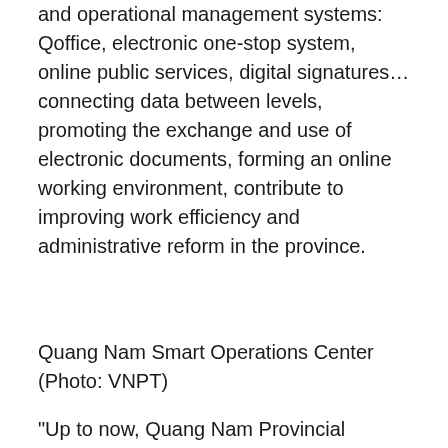and operational management systems: Qoffice, electronic one-stop system, online public services, digital signatures… connecting data between levels, promoting the exchange and use of electronic documents, forming an online working environment, contribute to improving work efficiency and administrative reform in the province.
Quang Nam Smart Operations Center (Photo: VNPT)
“Up to now, Quang Nam Provincial People’s